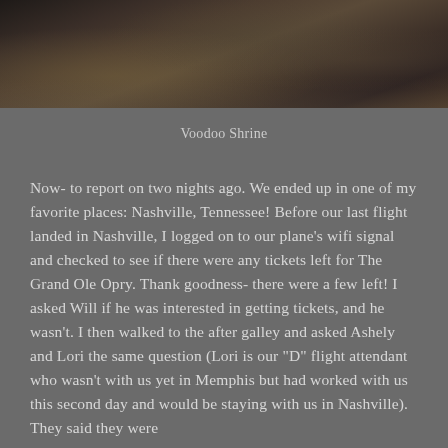[Figure (photo): A dark-toned photograph of a voodoo shrine with scattered dollar bills and various objects]
Voodoo Shrine
Now- to report on two nights ago. We ended up in one of my favorite places: Nashville, Tennessee! Before our last flight landed in Nashville, I logged on to our plane’s wifi signal and checked to see if there were any tickets left for The Grand Ole Opry. Thank goodness- there were a few left! I asked Will if he was interested in getting tickets, and he wasn’t. I then walked to the after galley and asked Ashely and Lori the same question (Lori is our “D” flight attendant who wasn’t with us yet in Memphis but had worked with us this second day and would be staying with us in Nashville). They said they were